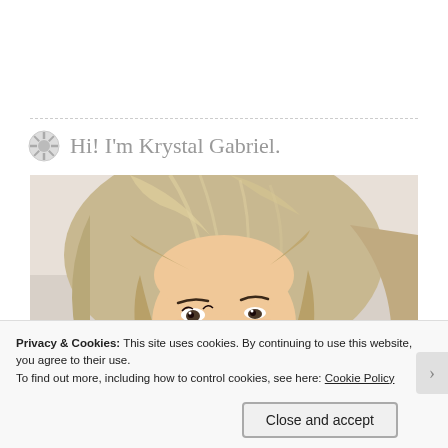Hi! I'm Krystal Gabriel.
[Figure (photo): Portrait photo of Krystal Gabriel, a woman with a blonde bob haircut, smiling, wearing a blue top, against a light background.]
Privacy & Cookies: This site uses cookies. By continuing to use this website, you agree to their use.
To find out more, including how to control cookies, see here: Cookie Policy
Close and accept